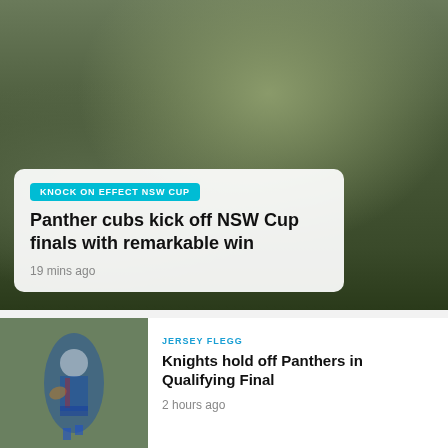[Figure (photo): Rugby league players in action — a player in red and black hooped jersey passing the ball, with defenders in dark jerseys around him on a grass field.]
KNOCK ON EFFECT NSW CUP
Panther cubs kick off NSW Cup finals with remarkable win
19 mins ago
[Figure (photo): A young rugby league player in blue and red jersey kicking the ball on a grass field.]
JERSEY FLEGG
Knights hold off Panthers in Qualifying Final
2 hours ago